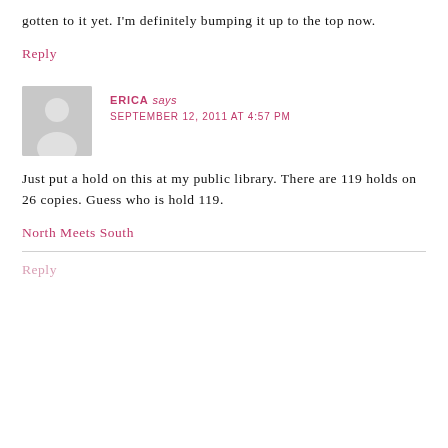gotten to it yet. I'm definitely bumping it up to the top now.
Reply
ERICA says
SEPTEMBER 12, 2011 AT 4:57 PM
Just put a hold on this at my public library. There are 119 holds on 26 copies. Guess who is hold 119.
North Meets South
Reply